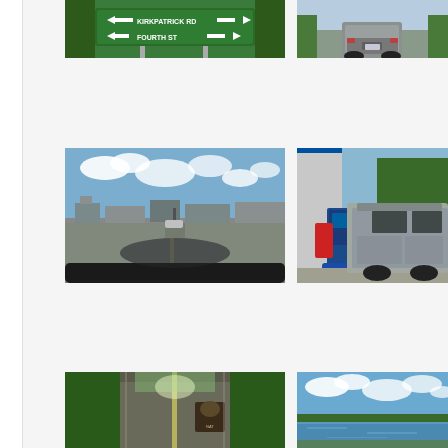[Figure (photo): Green road sign reading KIRKPATRICK RD and FOURTH ST with arrows, surrounded by trees]
[Figure (photo): Rear view of a silver pickup truck on a rural road]
[Figure (photo): Dashboard view through windshield driving through a small town with cloudy sky]
[Figure (photo): Silver SUV/pickup truck at a gas station pump]
[Figure (photo): Tree-lined road with a national park sign on the right side]
[Figure (photo): Scenic view of a lake or bay with blue sky and clouds]